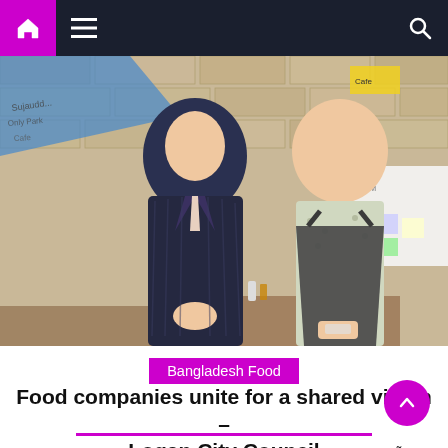Navigation bar with home, menu, and search icons
[Figure (photo): Two men standing side by side in front of a stone brick wall with handwritten text and colorful sticky notes. The man on the left wears a dark striped suit, the man on the right wears a patterned shirt and dark apron.]
Bangladesh Food
Food companies unite for a shared vision – Logan City Council
Logan Town Mayor Darren Power and Rua Haung Café business owner Sujauddin Karimuddin at the Loganly Grown event. Posted: 23 November 2021 Share on Local businesses have come together to explore ways to get involved in the